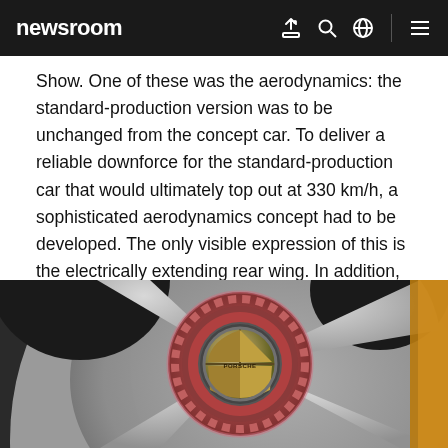newsroom
Show. One of these was the aerodynamics: the standard-production version was to be unchanged from the concept car. To deliver a reliable downforce for the standard-production car that would ultimately top out at 330 km/h, a sophisticated aerodynamics concept had to be developed. The only visible expression of this is the electrically extending rear wing. In addition, the entire carbon underbody is panelled; together with the rear diffuser, the underbody geometry produces a ground effect like on a racing car that as good as glues the car to the road.
[Figure (photo): Close-up of a Porsche wheel hub showing the silver alloy wheel spokes, pink/red brake caliper, and central Porsche crest hub cap, with a hint of gold brake disc visible at the edge.]